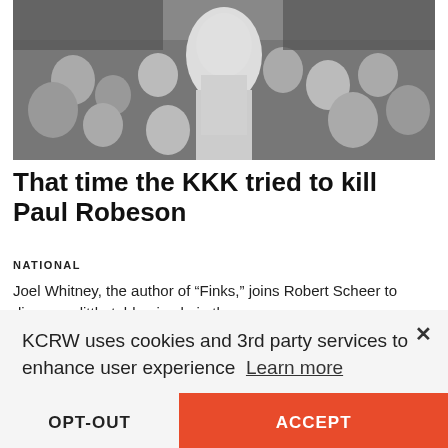[Figure (photo): Black and white historical photograph of Paul Robeson standing tall in a crowd of people]
That time the KKK tried to kill Paul Robeson
NATIONAL
Joel Whitney, the author of “Finks,” joins Robert Scheer to discuss a little-told episode in the socialist actor and singer’s life and why it’s
Aug. 5  |  from Scheer Intelligence
KCRW uses cookies and 3rd party services to enhance user experience  Learn more
OPT-OUT
ACCEPT
Your Privacy